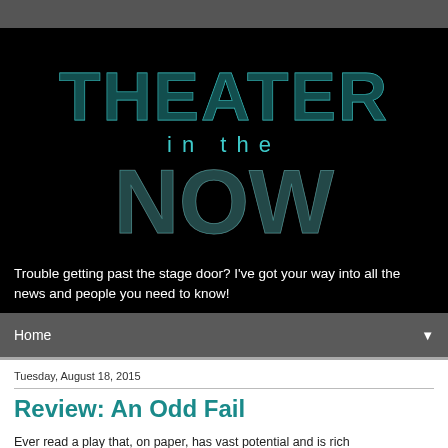[Figure (logo): Theater in the NOW logo — large dotted/LED-style letters on black background reading THEATER in the NOW]
Trouble getting past the stage door? I've got your way into all the news and people you need to know!
Home ▼
Tuesday, August 18, 2015
Review: An Odd Fail
Ever read a play that, on paper, has vast potential and is rich